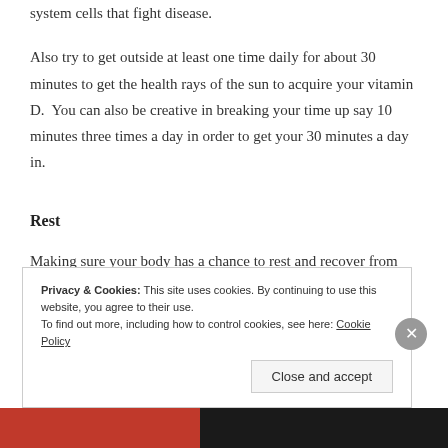system cells that fight disease.
Also try to get outside at least one time daily for about 30 minutes to get the health rays of the sun to acquire your vitamin D.  You can also be creative in breaking your time up say 10 minutes three times a day in order to get your 30 minutes a day in.
Rest
Making sure your body has a chance to rest and recover from the day is important for your immune system to
Privacy & Cookies: This site uses cookies. By continuing to use this website, you agree to their use.
To find out more, including how to control cookies, see here: Cookie Policy
Close and accept